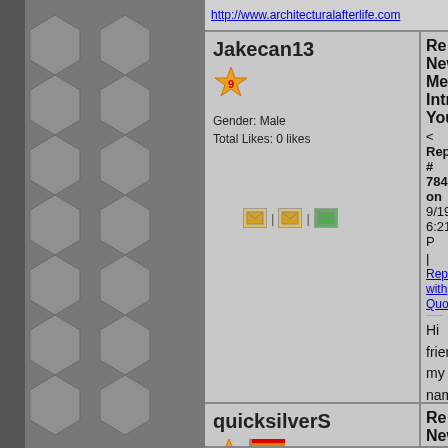http://www.architecturalafterlife.com
Jakecan13
Gender: Male
Total Likes: 0 likes
Re: New Member? Introduce You...
< Reply # 784 on 9/19/2013 6:21 P...
| Reply with Quote
Hi friends my name is Jake,

I recently just moved to Philly, plan... fascinated with old abandoned buil... everywhere around my home state o...

I like weird music, every form of ar...

Looking forward to potential future...
quicksilverS
Location: Huntsville, TX
Gender: Female
Total Likes: 0 likes
Re: New Member? Introduce You...
< Reply # 785 on 9/19/2013 7:25 P...
| Reply with Quote
Hello from Texas (NE of Houston)... been interested in old cemeteries, ab... are thinking about taking a long w...